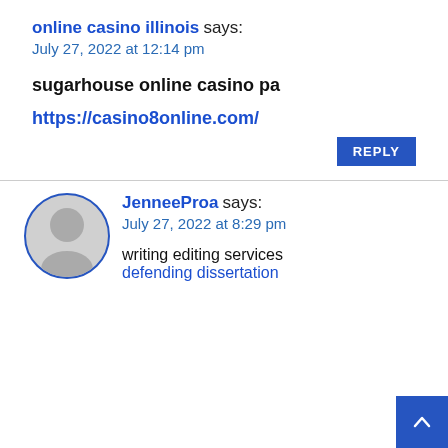online casino illinois says: July 27, 2022 at 12:14 pm
sugarhouse online casino pa
https://casino8online.com/
REPLY
JenneeProa says: July 27, 2022 at 8:29 pm
writing editing services
defending dissertation